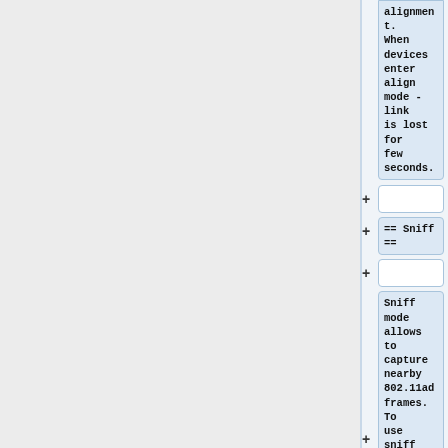alignment. When devices enter align mode - link is lost for few seconds.
== Sniff ==
Sniff mode allows to capture nearby 802.11ad frames. To use sniff mode same frequency